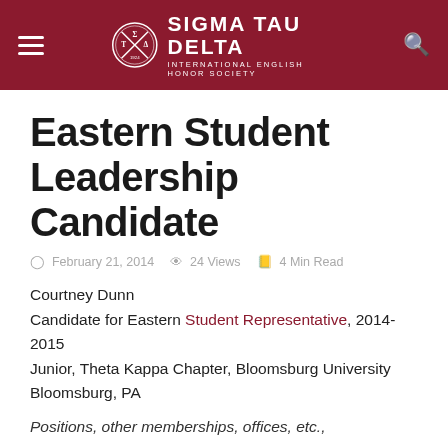Sigma Tau Delta — International English Honor Society
Eastern Student Leadership Candidate
February 21, 2014   24 Views   4 Min Read
Courtney Dunn
Candidate for Eastern Student Representative, 2014-2015
Junior, Theta Kappa Chapter, Bloomsburg University
Bloomsburg, PA
Positions, other memberships, offices, etc.,